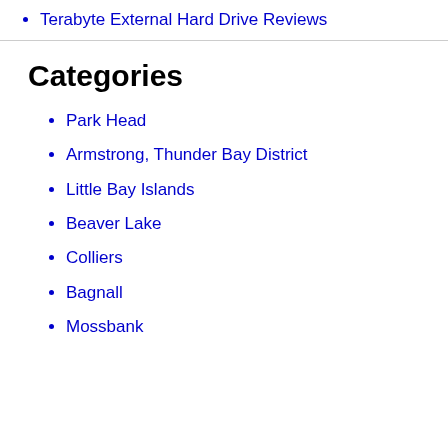Terabyte External Hard Drive Reviews
Categories
Park Head
Armstrong, Thunder Bay District
Little Bay Islands
Beaver Lake
Colliers
Bagnall
Mossbank